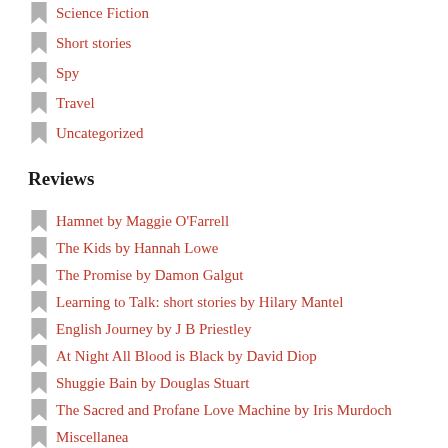Science Fiction
Short stories
Spy
Travel
Uncategorized
Reviews
Hamnet by Maggie O'Farrell
The Kids by Hannah Lowe
The Promise by Damon Galgut
Learning to Talk: short stories by Hilary Mantel
English Journey by J B Priestley
At Night All Blood is Black by David Diop
Shuggie Bain by Douglas Stuart
The Sacred and Profane Love Machine by Iris Murdoch
Miscellanea